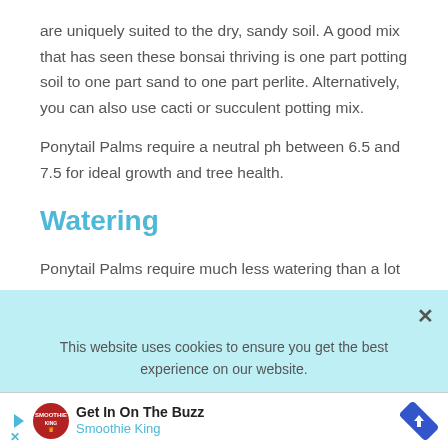are uniquely suited to the dry, sandy soil. A good mix that has seen these bonsai thriving is one part potting soil to one part sand to one part perlite. Alternatively, you can also use cacti or succulent potting mix.
Ponytail Palms require a neutral ph between 6.5 and 7.5 for ideal growth and tree health.
Watering
Ponytail Palms require much less watering than a lot
This website uses cookies to ensure you get the best experience on our website.
[Figure (other): Advertisement banner for Smoothie King with logo, play button, and navigation arrow icon. Text reads 'Get In On The Buzz' and 'Smoothie King'.]